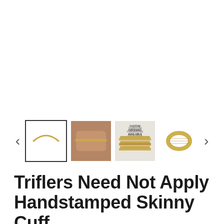[Figure (screenshot): Product image carousel with navigation arrows and 4 thumbnail images of handstamped cuff bracelets and rings. First thumbnail (selected, with black border) shows a thin gold cuff bracelet on white background. Second thumbnail shows the bracelet worn on a wrist. Third thumbnail shows custom ordering available text with stacked bracelets. Fourth thumbnail shows a gold cuff ring.]
Triflers Need Not Apply Handstamped Skinny Cuff
$30.00